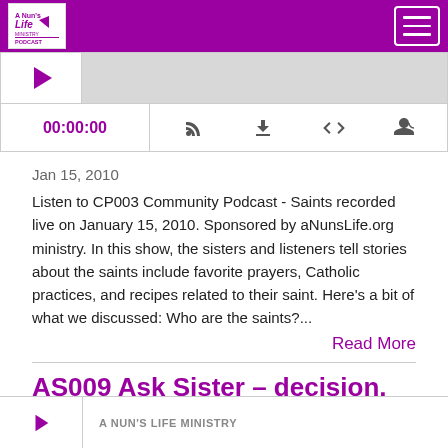A Nun's Life Ministry Podcast
[Figure (screenshot): Podcast audio player with play button, waveform area, timestamp 00:00:00, and control icons for RSS, download, embed, and share]
Jan 15, 2010
Listen to CP003 Community Podcast - Saints recorded live on January 15, 2010. Sponsored by aNunsLife.org ministry. In this show, the sisters and listeners tell stories about the saints include favorite prayers, Catholic practices, and recipes related to their saint. Here's a bit of what we discussed: Who are the saints?...
Read More
AS009 Ask Sister – decision, deportment, distance
A NUN'S LIFE MINISTRY